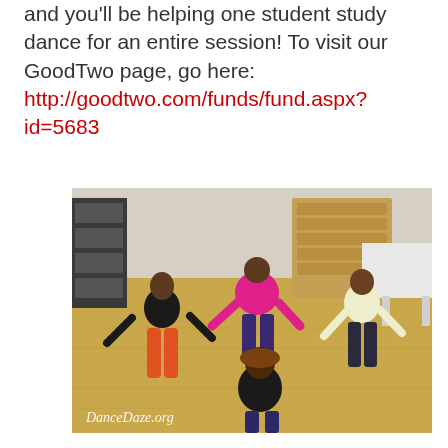and you'll be helping one student study dance for an entire session! To visit our GoodTwo page, go here: http://goodtwo.com/funds/fund.aspx?id=5683
[Figure (photo): Children dancing in a classroom setting, moving on a yellow floor with bookshelves in the background. Watermark reads DanceDaze.org.]